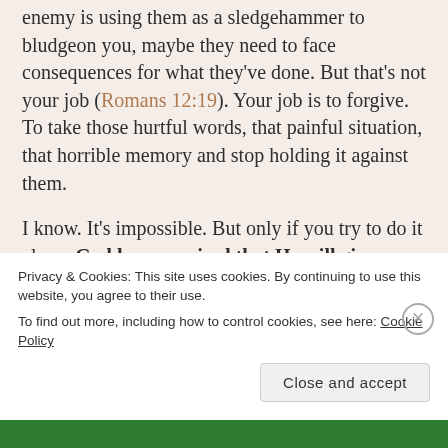enemy is using them as a sledgehammer to bludgeon you, maybe they need to face consequences for what they've done. But that's not your job (Romans 12:19). Your job is to forgive. To take those hurtful words, that painful situation, that horrible memory and stop holding it against them.

I know. It's impossible. But only if you try to do it alone. God has promised that He will give us strength to do impossible things (Philippians 4:13). Once you throw off the heavy burden of all that pain and grief and sorrow, you'll truly be free.
Privacy & Cookies: This site uses cookies. By continuing to use this website, you agree to their use.
To find out more, including how to control cookies, see here: Cookie Policy